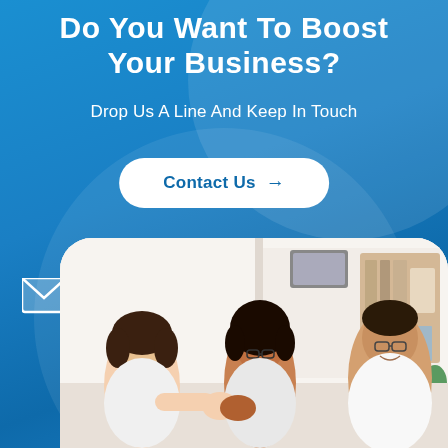Do You Want To Boost Your Business?
Drop Us A Line And Keep In Touch
Contact Us →
[Figure (photo): Three business people in a bright office setting engaged in a collaborative discussion, one performing a fist bump. Two women and one man, one woman with glasses and natural hair.]
[Figure (illustration): White envelope/mail icon on blue background]